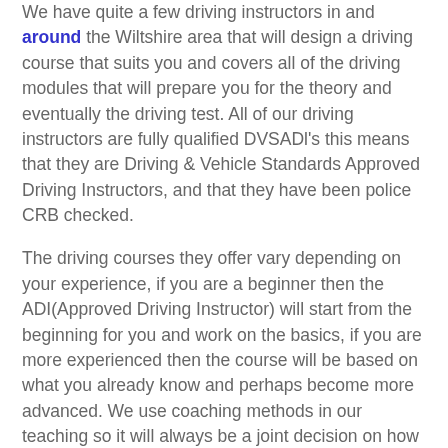We have quite a few driving instructors in and around the Wiltshire area that will design a driving course that suits you and covers all of the driving modules that will prepare you for the theory and eventually the driving test. All of our driving instructors are fully qualified DVSADl's this means that they are Driving & Vehicle Standards Approved Driving Instructors, and that they have been police CRB checked.
The driving courses they offer vary depending on your experience, if you are a beginner then the ADI(Approved Driving Instructor) will start from the beginning for you and work on the basics, if you are more experienced then the course will be based on what you already know and perhaps become more advanced. We use coaching methods in our teaching so it will always be a joint decision on how the course is structured for you.